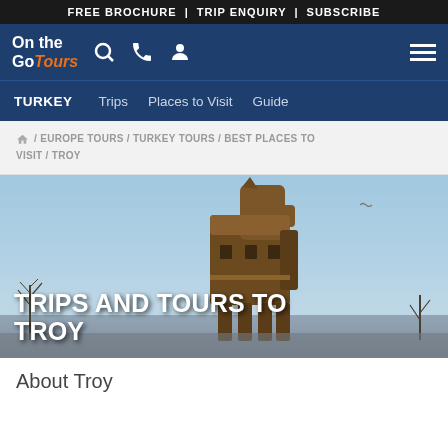FREE BROCHURE | TRIP ENQUIRY | SUBSCRIBE
[Figure (logo): On the Go Tours logo with search, phone, and user icons, and hamburger menu]
TURKEY   Trips   Places to Visit   Guide
/ EUROPE TOURS / TURKEY TOURS / BEST PLACES TO VISIT / TROY
[Figure (photo): Large wooden Trojan horse statue against a blue sky with bare trees in background]
TRIPS AND TOURS TO TROY
About Troy